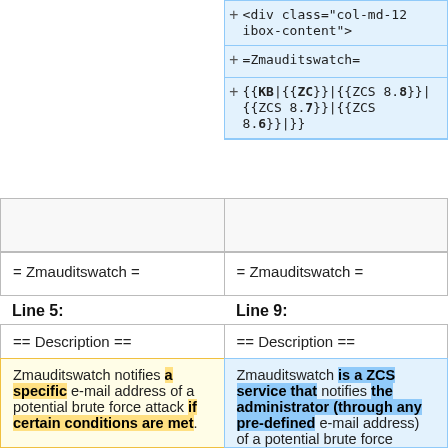[Figure (screenshot): Diff view showing code additions with blue highlighted lines. Three rows with + signs showing added lines: '<div class="col-md-12 ibox-content">', '+=Zmauditswatch=', and '{{KB|{{ZC}}|{{ZCS 8.8}}|{{ZCS 8.7}}|{{ZCS 8.6}}|}}' in monospace font on blue background.]
|  | = Zmauditswatch = | = Zmauditswatch = |
Line 5:
Line 9:
| == Description == | == Description == |
Zmauditswatch notifies a specific e-mail address of a potential brute force attack if certain conditions are met.
Zmauditswatch is a ZCS service that notifies the administrator (through any pre-defined e-mail address) of a potential brute force attack for any account